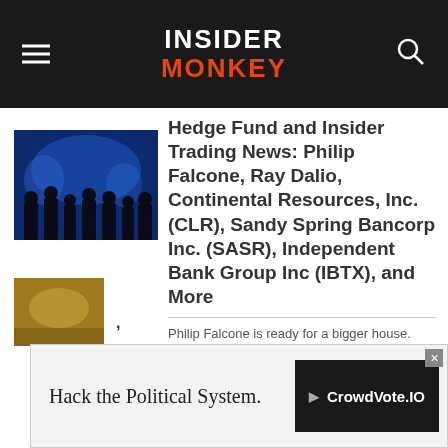INSIDER MONKEY
[Figure (photo): Dark blue image showing silhouettes of people in a conference or event setting with blue lighting]
Hedge Fund and Insider Trading News: Philip Falcone, Ray Dalio, Continental Resources, Inc. (CLR), Sandy Spring Bancorp Inc. (SASR), Independent Bank Group Inc (IBTX), and More
Philip Falcone is ready for a bigger house.
Keep Reading →
March 9 - Hedge Funds, Insider Trading - Comments
[Figure (infographic): Advertisement banner: Hack the Political System. CrowdVote.IO]